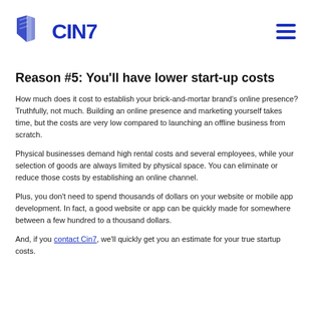CIN7
Reason #5: You'll have lower start-up costs
How much does it cost to establish your brick-and-mortar brand's online presence? Truthfully, not much. Building an online presence and marketing yourself takes time, but the costs are very low compared to launching an offline business from scratch.
Physical businesses demand high rental costs and several employees, while your selection of goods are always limited by physical space. You can eliminate or reduce those costs by establishing an online channel.
Plus, you don't need to spend thousands of dollars on your website or mobile app development. In fact, a good website or app can be quickly made for somewhere between a few hundred to a thousand dollars.
And, if you contact Cin7, we'll quickly get you an estimate for your true startup costs.